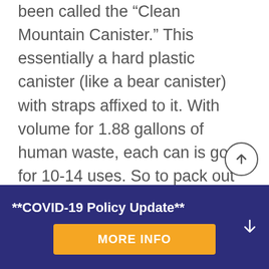been called the “Clean Mountain Canister.” This essentially a hard plastic canister (like a bear canister) with straps affixed to it. With volume for 1.88 gallons of human waste, each can is good for 10-14 uses. So to pack out all of one’s poop for a Denali climb, each climber must carry 2 canisters. Canisters are 11 inches tall with an 8 inch diameter opening, and they weigh 2.4 pounds each. To bring 2 filled
**COVID-19 Policy Update**
MORE INFO